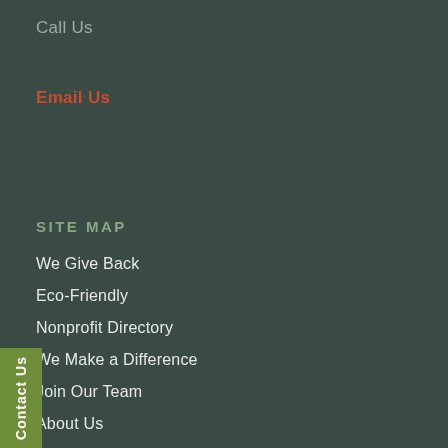Call Us
Email Us
SITE MAP
We Give Back
Eco-Friendly
Nonprofit Directory
We Make a Difference
Join Our Team
About Us
Relocating to Denver
Contact Us